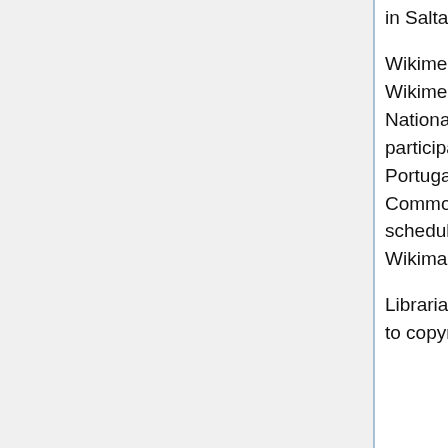in Salta, and other FS and Free culture events in 2011.
Wikimedia Community: Wikimedia Argentina will host an Iberoamerican Wikimedia meeting in La Plata, Argentina, in coordination with the National University of La Plata. The conference will bring together participants from Argentina, Bolivia, Brazil, Chile, Colombia, Paraguay, Portugal, Spain, Uruguay, Venezuela and other countries. Creative Commons community will have an important role in this meeting scheduled for June/July 2011. Wikimedia Argentina will also take part of Wikimania 2011 in Haifa Israel.
Librarians: Librarians community in Argentina is promoting a bill on L&E to copyright for librarians, and is also very